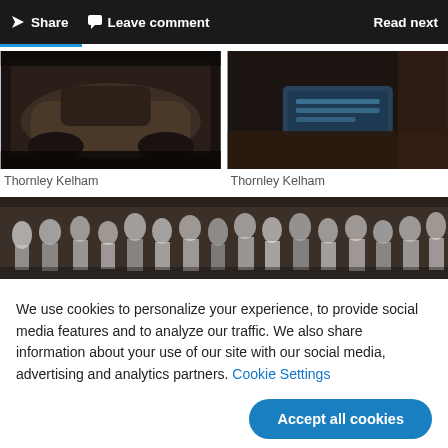Share  Leave comment  Read next
[Figure (photo): Rusty vintage car body shell in dark garage setting - Thornley Kelham]
Thornley Kelham
[Figure (photo): Close-up of rusted blue metal nameplate on old machinery - Thornley Kelham]
Thornley Kelham
[Figure (photo): Black and white historical photograph of a large crowd of people standing together]
We use cookies to personalize your experience, to provide social media features and to analyze our traffic. We also share information about your use of our site with our social media, advertising and analytics partners. Cookie Settings
Accept all cookies